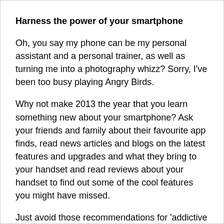Harness the power of your smartphone
Oh, you say my phone can be my personal assistant and a personal trainer, as well as turning me into a photography whizz? Sorry, I've been too busy playing Angry Birds.
Why not make 2013 the year that you learn something new about your smartphone? Ask your friends and family about their favourite app finds, read news articles and blogs on the latest features and upgrades and what they bring to your handset and read reviews about your handset to find out some of the cool features you might have missed.
Just avoid those recommendations for ‘addictive games’ or you might not get too far…